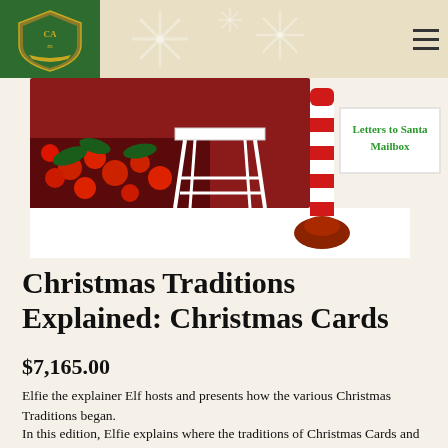CAm logo and navigation header with snowflake background
[Figure (illustration): Christmas scene illustration showing a stool, candy cane pole, red berries, and a Letters to Santa Mailbox sign]
Christmas Traditions Explained: Christmas Cards
$7,165.00
Elfie the explainer Elf hosts and presents how the various Christmas Traditions began.
In this edition, Elfie explains where the traditions of Christmas Cards and letters to Santa came from and how they differ across